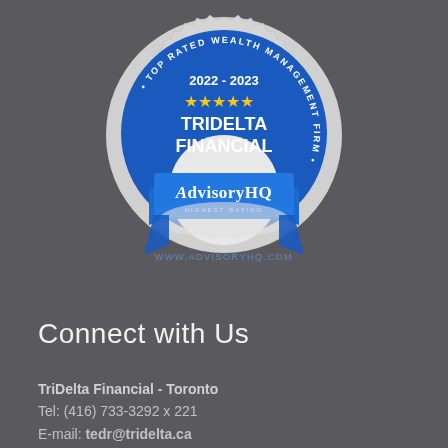[Figure (logo): AdvisoryHQ Top Rated Wealth Management Firm badge for 2022-2023, featuring TriDelta Financial with 5 stars and Highest Rating designation]
Connect with Us
TriDelta Financial - Toronto
Tel: (416) 733-3292 x 221
E-mail: tedr@tridelta.ca